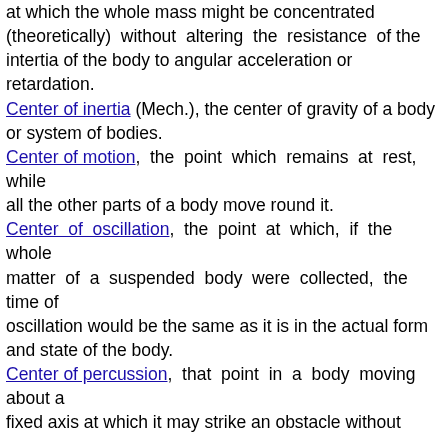at which the whole mass might be concentrated (theoretically) without altering the resistance of the intertia of the body to angular acceleration or retardation.
Center of inertia (Mech.), the center of gravity of a body or system of bodies.
Center of motion, the point which remains at rest, while all the other parts of a body move round it.
Center of oscillation, the point at which, if the whole matter of a suspended body were collected, the time of oscillation would be the same as it is in the actual form and state of the body.
Center of percussion, that point in a body moving about a fixed axis at which it may strike an obstacle without